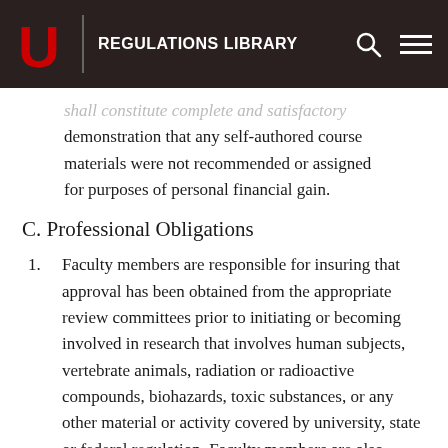REGULATIONS LIBRARY
shall constitute complete and satisfactory demonstration that any self-authored course materials were not recommended or assigned for purposes of personal financial gain.
C. Professional Obligations
Faculty members are responsible for insuring that approval has been obtained from the appropriate review committees prior to initiating or becoming involved in research that involves human subjects, vertebrate animals, radiation or radioactive compounds, biohazards, toxic substances, or any other material or activity covered by university, state or federal regulation. Faculty members are also responsible for